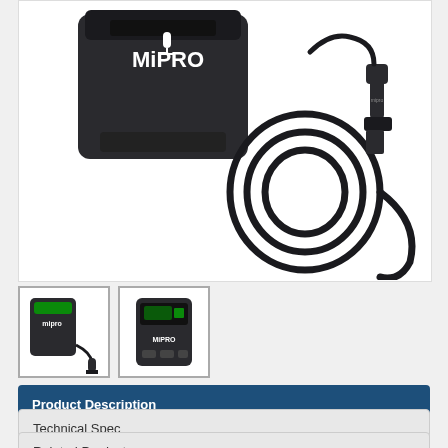[Figure (photo): Main product photo of MIPRO wireless transmitter/bodypack unit with lavalier microphone and cable on white background]
[Figure (photo): Thumbnail 1: MIPRO bodypack transmitter with lavalier mic and cable]
[Figure (photo): Thumbnail 2: MIPRO bodypack transmitter front view]
Product Description
Technical Spec
Related Products